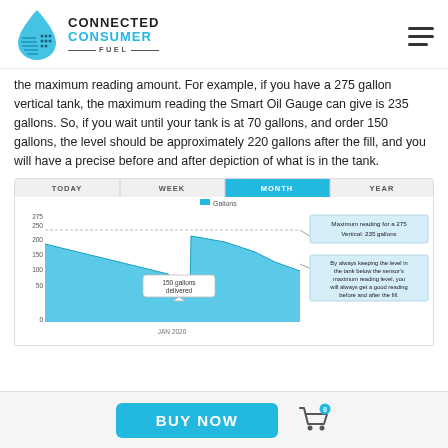Connected Consumer Fuel
the maximum reading amount. For example, if you have a 275 gallon vertical tank, the maximum reading the Smart Oil Gauge can give is 235 gallons. So, if you wait until your tank is at 70 gallons, and order 150 gallons, the level should be approximately 220 gallons after the fill, and you will have a precise before and after depiction of what is in the tank.
[Figure (area-chart): Area chart showing oil tank level over time (monthly view). Shows tank draining then refill of 150 gallons delivered. Annotations indicate: Maximum reading for a 275 Vertical: 235 gallons; By always keeping the level in the tank below the sensor's maximum reading level, you will always get a good reading before and after the fill. Y-axis shows values 275, 250, 200, 150, 100, 50, 0. Time tabs: TODAY, WEEK, MONTH (selected), YEAR.]
BUY NOW